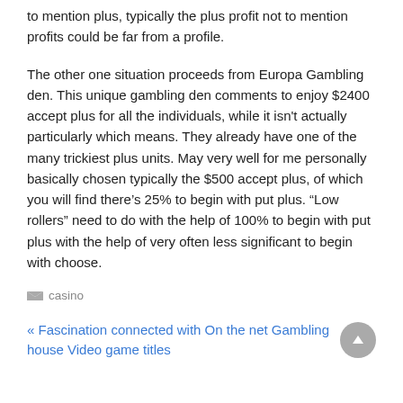to mention plus, typically the plus profit not to mention profits could be far from a profile.
The other one situation proceeds from Europa Gambling den. This unique gambling den comments to enjoy $2400 accept plus for all the individuals, while it isn't actually particularly which means. They already have one of the many trickiest plus units. May very well for me personally basically chosen typically the $500 accept plus, of which you will find there's 25% to begin with put plus. “Low rollers” need to do with the help of 100% to begin with put plus with the help of very often less significant to begin with choose.
casino
« Fascination connected with On the net Gambling house Video game titles